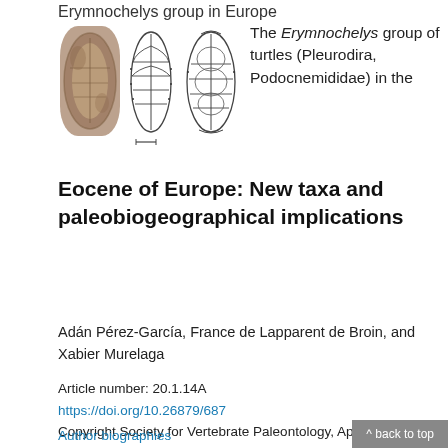Erymnochelys group in Europe
[Figure (illustration): Three views of turtle shells/carapaces: photograph of fossil shell on left, two line drawings of turtle carapace views in middle and right]
The Erymnochelys group of turtles (Pleurodira, Podocnemididae) in the Eocene of Europe: New taxa and paleobiogeographical implications
Adán Pérez-García, France de Lapparent de Broin, and Xabier Murelaga
Article number: 20.1.14A
https://doi.org/10.26879/687
Copyright Society for Vertebrate Paleontology, April 2017
Author biographies
Plain-language and multi-lingual abstracts
PDF version